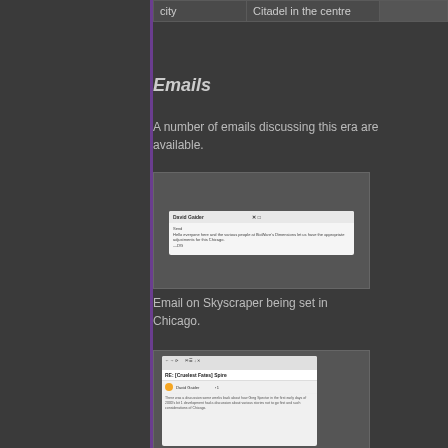| city | Citadel in the centre |  |
| --- | --- | --- |
| city | Citadel in the centre |  |
Emails
A number of emails discussing this era are available.
[Figure (screenshot): Screenshot of an email about Skyscraper being set in Chicago.]
Email on Skyscraper being set in Chicago.
[Figure (screenshot): Screenshot of an email with subject related to Cruelest Fates/Spire.]